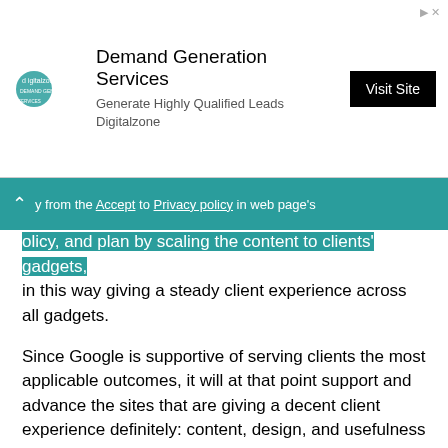[Figure (other): Advertisement banner for Digitalzone Demand Generation Services with logo, text, and Visit Site button]
...y from the 'Accept' to 'Privacy policy' in web page's policy, and plan by scaling the content to clients' gadgets, in this way giving a steady client experience across all gadgets.
Since Google is supportive of serving clients the most applicable outcomes, it will at that point support and advance the sites that are giving a decent client experience definitely: content, design, and usefulness across all gadgets.
High Conversion Rates
Research demonstrates that the normal Smartphone conversion rates are around 64% higher than the desktop ones. From this, it is extremely simple to perceive any